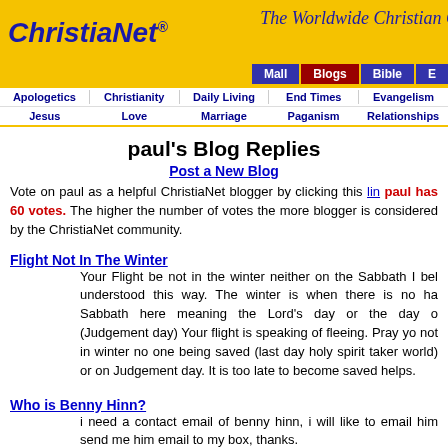ChristiaNet® The Worldwide Christian C...
Mall | Blogs | Bible | E...
Apologetics | Christianity | Daily Living | End Times | Evangelism | Jesus | Love | Marriage | Paganism | Relationships
paul's Blog Replies
Post a New Blog
Vote on paul as a helpful ChristiaNet blogger by clicking this link. paul has 60 votes. The higher the number of votes the more blogger is considered by the ChristiaNet community.
Flight Not In The Winter
Your Flight be not in the winter neither on the Sabbath I bel understood this way. The winter is when there is no ha Sabbath here meaning the Lord's day or the day o (Judgement day) Your flight is speaking of fleeing. Pray yo not in winter no one being saved (last day holy spirit taker world) or on Judgement day. It is too late to become saved helps.
Who is Benny Hinn?
i need a contact email of benny hinn, i will like to email him send me him email to my box, thanks.